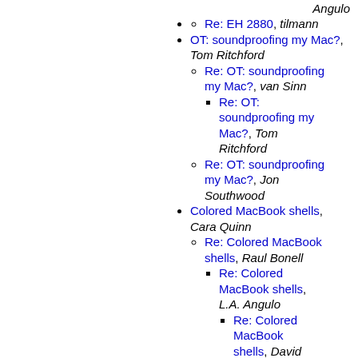Angulo
Re: EH 2880, tilmann
OT: soundproofing my Mac?, Tom Ritchford
Re: OT: soundproofing my Mac?, van Sinn
Re: OT: soundproofing my Mac?, Tom Ritchford
Re: OT: soundproofing my Mac?, Jon Southwood
Colored MacBook shells, Cara Quinn
Re: Colored MacBook shells, Raul Bonell
Re: Colored MacBook shells, L.A. Angulo
Re: Colored MacBook shells, David H
Re: